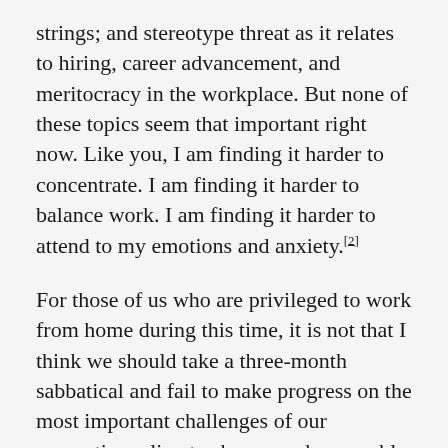strings; and stereotype threat as it relates to hiring, career advancement, and meritocracy in the workplace. But none of these topics seem that important right now. Like you, I am finding it harder to concentrate. I am finding it harder to balance work. I am finding it harder to attend to my emotions and anxiety.[2]
For those of us who are privileged to work from home during this time, it is not that I think we should take a three-month sabbatical and fail to make progress on the most important challenges of our generation: climate change and renewable energy, food and agriculture, cancer and infectious disease research, mental health and social well-being, to name a few.[3] This crisis should refocus our attention on the most pressing problems in the world. I do feel like reading, researching, experimenting, and learning, but I don't